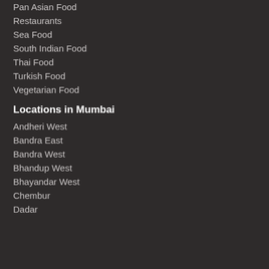Pan Asian Food
Restaurants
Sea Food
South Indian Food
Thai Food
Turkish Food
Vegetarian Food
Locations in Mumbai
Andheri West
Bandra East
Bandra West
Bhandup West
Bhayandar West
Chembur
Dadar